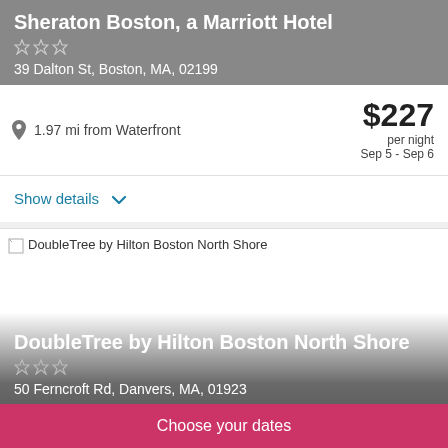Sheraton Boston, a Marriott Hotel
39 Dalton St, Boston, MA, 02199
1.97 mi from Waterfront
$227 per night Sep 5 - Sep 6
Show details
[Figure (photo): Hotel image placeholder for DoubleTree by Hilton Boston North Shore]
DoubleTree by Hilton Boston North Shore
50 Ferncroft Rd, Danvers, MA, 01923
Choose your dates